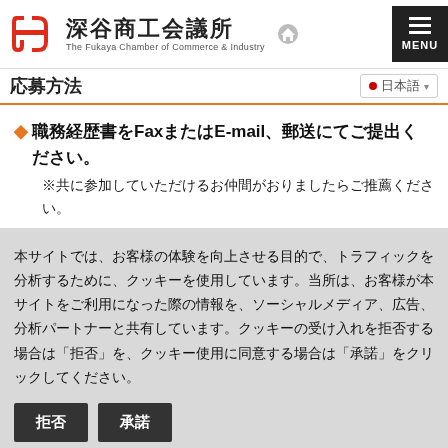深谷商工会議所 The Fukaya Chamber of Commerce & Industry
応募方法
◆職務経歴書をFaxまたはE-mail、郵送にてご提出ください。
※共に参加していただけるお仲間がおりましたらご推薦ください。
本サイトでは、お客様の体験を向上させる目的で、トラフィックを分析するために、クッキーを使用しています。当所は、お客様が本サイトをご利用になった際の情報を、ソーシャルメディア、広告、分析パートナーと共有しています。クッキーの受け入れを拒否する場合は「拒否」を、クッキー使用に同意する場合は「承諾」をクリックしてください。
拒否
承諾